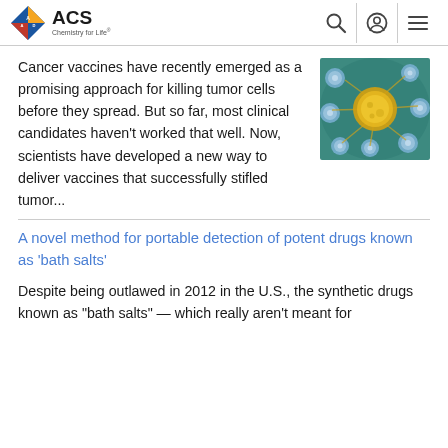ACS Chemistry for Life
Cancer vaccines have recently emerged as a promising approach for killing tumor cells before they spread. But so far, most clinical candidates haven't worked that well. Now, scientists have developed a new way to deliver vaccines that successfully stifled tumor...
[Figure (photo): Microscopic image of cancer cell (yellow/gold) surrounded by immune cells (blue/white spheres) on a teal background]
A novel method for portable detection of potent drugs known as 'bath salts'
Despite being outlawed in 2012 in the U.S., the synthetic drugs known as "bath salts" — which really aren't meant for